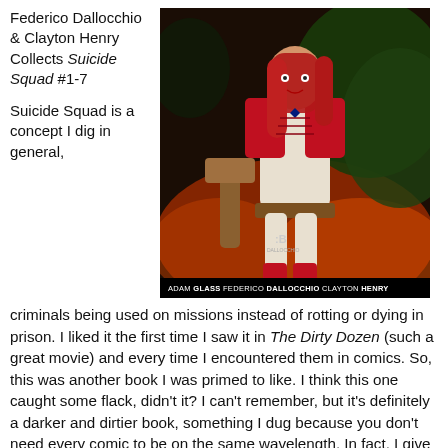Federico Dallocchio & Clayton Henry Collects Suicide Squad #1-7
[Figure (illustration): Comic book cover for Suicide Squad featuring a female character in red and white costume holding a weapon, with dark fantasy background. Bottom bar reads: ADAM GLASS FEDERICO DALLOCCHIO CLAYTON HENRY]
Suicide Squad is a concept I dig in general, criminals being used on missions instead of rotting or dying in prison. I liked it the first time I saw it in The Dirty Dozen (such a great movie) and every time I encountered them in comics. So, this was another book I was primed to like. I think this one caught some flack, didn't it? I can't remember, but it's definitely a darker and dirtier book, something I dug because you don't need every comic to be on the same wavelength. In fact, I give DC a lot of